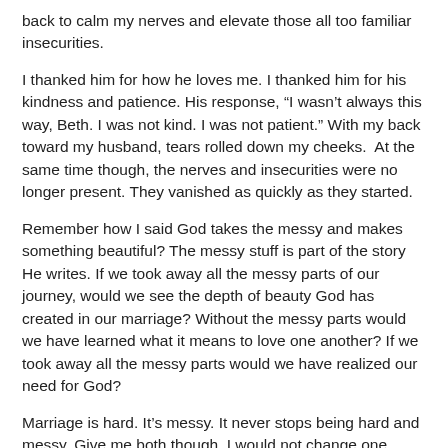back to calm my nerves and elevate those all too familiar insecurities.
I thanked him for how he loves me. I thanked him for his kindness and patience. His response, “I wasn’t always this way, Beth. I was not kind. I was not patient.” With my back toward my husband, tears rolled down my cheeks.  At the same time though, the nerves and insecurities were no longer present. They vanished as quickly as they started.
Remember how I said God takes the messy and makes something beautiful? The messy stuff is part of the story He writes. If we took away all the messy parts of our journey, would we see the depth of beauty God has created in our marriage? Without the messy parts would we have learned what it means to love one another? If we took away all the messy parts would we have realized our need for God?
Marriage is hard. It’s messy. It never stops being hard and messy. Give me both though. I would not change one single scene of the story God has written for us and I trust Him with the story He continues to write.